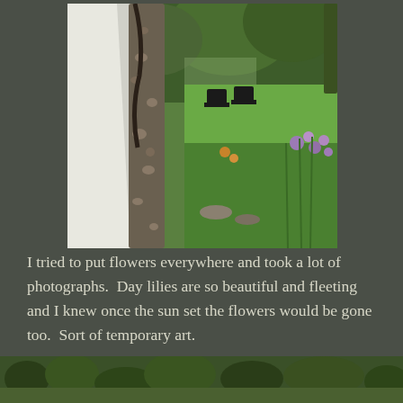[Figure (photo): Outdoor garden scene viewed through white fabric/curtain and a spotted birch tree trunk. Background shows green lawn, two black Adirondack chairs, lush garden beds with day lilies and purple flowers, and trees.]
I tried to put flowers everywhere and took a lot of photographs.  Day lilies are so beautiful and fleeting and I knew once the sun set the flowers would be gone too.  Sort of temporary art.
[Figure (photo): Partial view of another outdoor garden/nature photograph at the bottom of the page.]